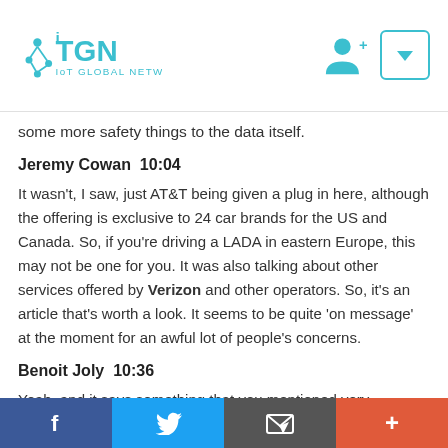IoT Global Network
some more safety things to the data itself.
Jeremy Cowan  10:04
It wasn't, I saw, just AT&T being given a plug in here, although the offering is exclusive to 24 car brands for the US and Canada. So, if you're driving a LADA in eastern Europe, this may not be one for you. It was also talking about other services offered by Verizon and other operators. So, it's an article that's worth a look. It seems to be quite 'on message' at the moment for an awful lot of people's concerns.
Benoit Joly  10:36
Yeah, and it says something that you mentioned very interestingly for us, but it's all about partnership and ecosystem. So, they're gonna have to work together, which brand was going to work in partnership with which content is
Facebook Twitter Email Share